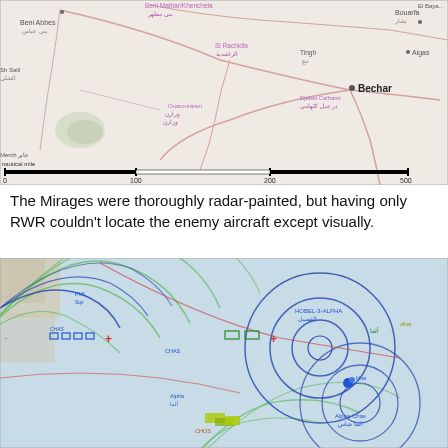[Figure (map): A topographic/road map of northwestern Algeria showing cities including Bechar, Beni Abbes, Bouarfa, Tindouf area, with roads and a scale bar showing nautical miles (0-100-200-500).]
The Mirages were thoroughly radar-painted, but having only RWR couldn't locate the enemy aircraft except visually.
[Figure (map): A tactical air combat map with light blue background showing multiple overlapping circles (radar/engagement ranges) in blue, green, and dark blue colors, with various aircraft position markers labeled in text, red crosses, and a small blue aircraft symbol. Green and red arcs indicate radar sweep zones.]